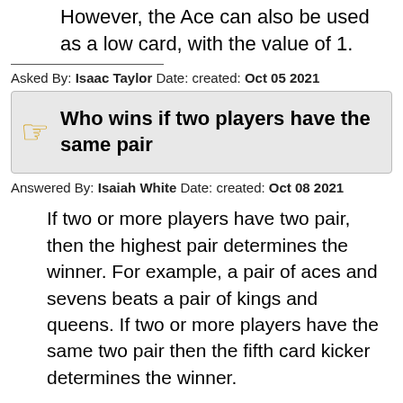However, the Ace can also be used as a low card, with the value of 1.
Asked By: Isaac Taylor Date: created: Oct 05 2021
Who wins if two players have the same pair
Answered By: Isaiah White Date: created: Oct 08 2021
If two or more players have two pair, then the highest pair determines the winner. For example, a pair of aces and sevens beats a pair of kings and queens. If two or more players have the same two pair then the fifth card kicker determines the winner.
Asked By: Wyatt Wood Date: created: Feb 08 2022
Is JOKA 2 a straight